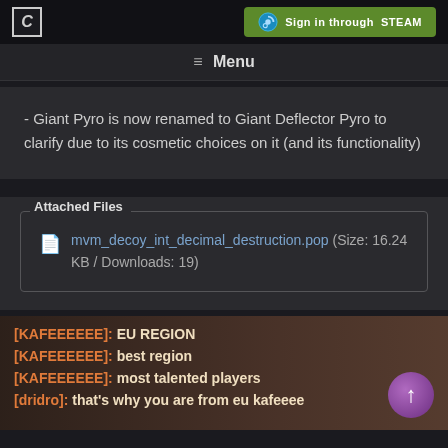Menu
- Giant Pyro is now renamed to Giant Deflector Pyro to clarify due to its cosmetic choices on it (and its functionality)
Attached Files
mvm_decoy_int_decimal_destruction.pop (Size: 16.24 KB / Downloads: 19)
[Figure (screenshot): In-game chat screenshot showing lines: [KAFEEEEEE]: EU REGION / [KAFEEEEEE]: best region / [KAFEEEEEE]: most talented players / [dridro]: that's why you are from eu kafeeee]